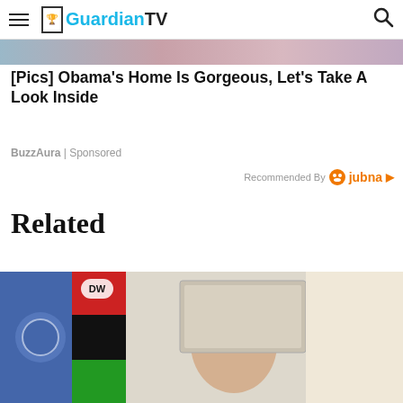GuardianTV
[Figure (photo): Partial photo strip at top of page showing a person, cropped]
[Pics] Obama's Home Is Gorgeous, Let's Take A Look Inside
BuzzAura | Sponsored
Recommended By jubna
Related
[Figure (photo): Video thumbnail showing a man wearing glasses in front of flags including a blue UN flag and a red/black/green flag, with a DW logo overlay]